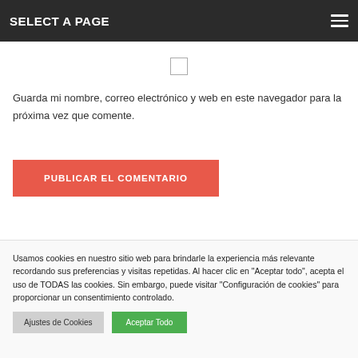SELECT A PAGE
[Figure (screenshot): Checkbox (unchecked)]
Guarda mi nombre, correo electrónico y web en este navegador para la próxima vez que comente.
[Figure (screenshot): Button: PUBLICAR EL COMENTARIO]
Usamos cookies en nuestro sitio web para brindarle la experiencia más relevante recordando sus preferencias y visitas repetidas. Al hacer clic en "Aceptar todo", acepta el uso de TODAS las cookies. Sin embargo, puede visitar "Configuración de cookies" para proporcionar un consentimiento controlado.
[Figure (screenshot): Buttons: Ajustes de Cookies and Aceptar Todo]